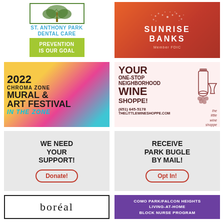[Figure (advertisement): St. Anthony Park Dental Care ad with tree illustration, blue text and lime green tagline 'PREVENTION IS OUR GOAL']
[Figure (advertisement): Sunrise Banks ad on orange-red gradient background with white dots and 'SUNRISE BANKS Member FDIC' text]
[Figure (advertisement): 2022 Chroma Zone Mural & Art Festival 'IN THE ZONE' ad on colorful background]
[Figure (advertisement): The Little Wine Shoppe ad on light pink background with wine bottle illustration, 'YOUR ONE-STOP NEIGHBORHOOD WINE SHOPPE!', phone (651) 645-5178, THELITTLEWINESHOPPE.COM]
[Figure (advertisement): We Need Your Support ad on gray background with Donate! button]
[Figure (advertisement): Receive Park Bugle By Mail ad on gray background with Opt In! button]
[Figure (advertisement): Boréal ad with black border on white background]
[Figure (advertisement): Como Park/Falcon Heights Living-At-Home Block Nurse Program ad on purple background]